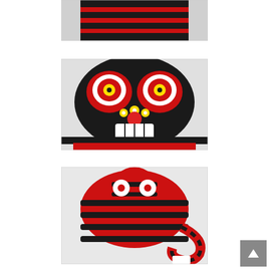[Figure (photo): Close-up top portion of a red and black striped plush toy figure, showing the upper body/torso area with alternating red and black stripes]
[Figure (photo): Close-up of the face of a red and black striped plush toy with white eyes with red irises, yellow pupils, yellow nose dots, red round nose, and open white-toothed mouth on a black furry face]
[Figure (photo): Side/back view of the full red and black striped plush toy showing its round head with white circle eyes, curved body with red and black stripes, and a curled tail]